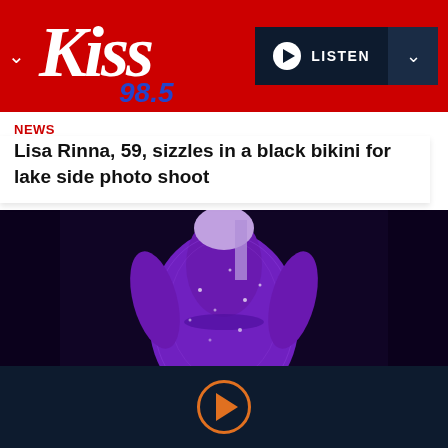[Figure (logo): Kiss 98.5 radio station logo in white cursive text on red background with blue 98.5 number, alongside a LISTEN button]
NEWS
Lisa Rinna, 59, sizzles in a black bikini for lake side photo shoot
[Figure (photo): Performer in a sparkly purple outfit on a dark stage background]
Photo credit Paras Griffin/Getty Images
Mary J. Blige
[Figure (other): Dark navy bottom player bar with an orange-outlined play button circle in the center]